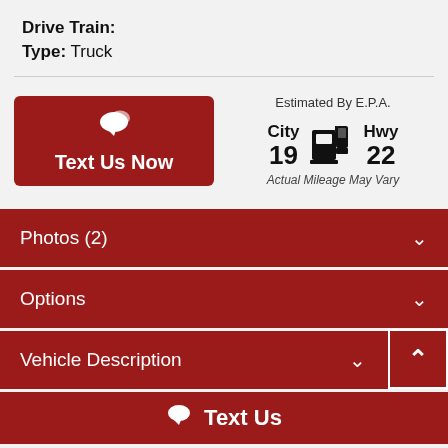Drive Train:
Type: Truck
[Figure (infographic): Text Us Now button (dark red rounded rectangle with chat bubble icon and white text 'Text Us Now') alongside an EPA fuel economy display showing City 19 and Hwy 22 MPG with a fuel pump icon and italic text 'Actual Mileage May Vary']
Photos (2)
Options
Vehicle Description
Text Us